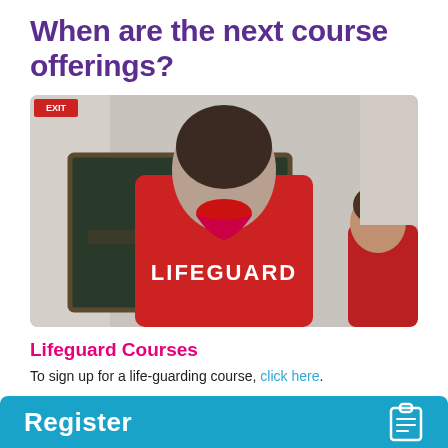When are the next course offerings?
[Figure (photo): Person seen from behind wearing a red LIFEGUARD t-shirt with white lettering, standing in front of a dark chalkboard. Another person in red is partially visible on the right.]
Lifeguard Courses
To sign up for a life-guarding course, click here.
Register